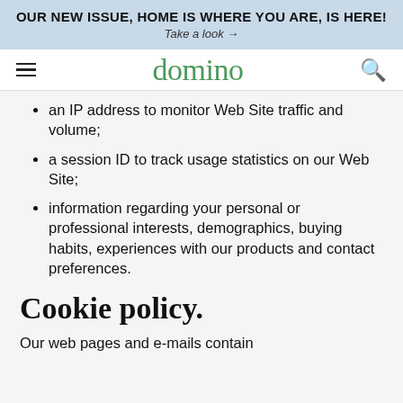OUR NEW ISSUE, HOME IS WHERE YOU ARE, IS HERE!
Take a look →
domino
an IP address to monitor Web Site traffic and volume;
a session ID to track usage statistics on our Web Site;
information regarding your personal or professional interests, demographics, buying habits, experiences with our products and contact preferences.
Cookie policy.
Our web pages and e-mails contain